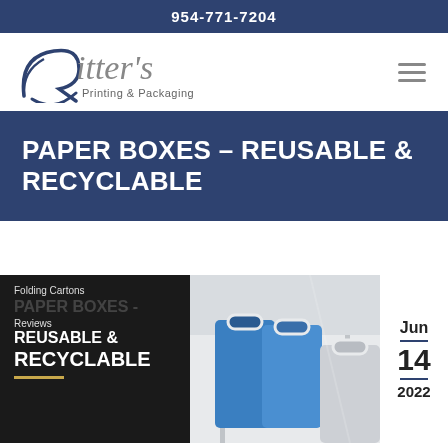954-771-7204
[Figure (logo): Ritter's Printing & Packaging logo with stylized R and italic script text]
PAPER BOXES – REUSABLE & RECYCLABLE
[Figure (infographic): Blog post card showing blue paper bags on a table, with overlay text: Folding Cartons, PAPER BOXES - REUSABLE & RECYCLABLE, Reviews, date badge Jun 14 2022]